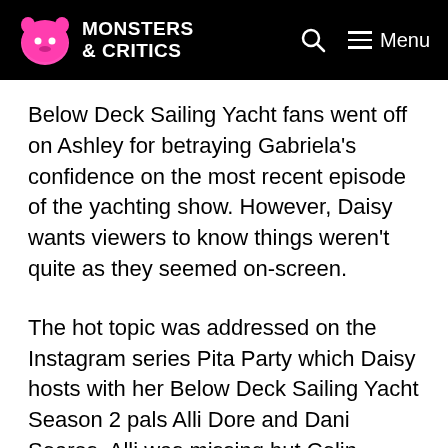MONSTERS & CRITICS
Below Deck Sailing Yacht fans went off on Ashley for betraying Gabriela's confidence on the most recent episode of the yachting show. However, Daisy wants viewers to know things weren't quite as they seemed on-screen.
The hot topic was addressed on the Instagram series Pita Party which Daisy hosts with her Below Deck Sailing Yacht Season 2 pals Alli Dore and Dani Soares. Alli was missing but Colin MacRae stepped in as a special guest.
Daisy took a moment to comment on Ashley